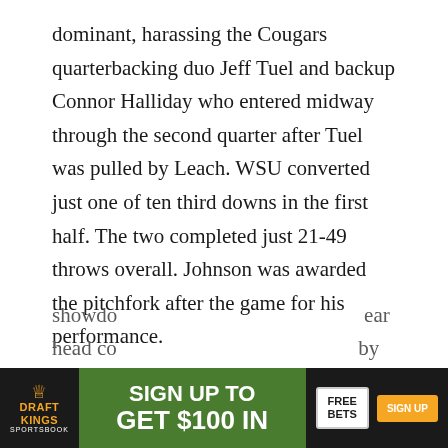dominant, harassing the Cougars quarterbacking duo Jeff Tuel and backup Connor Halliday who entered midway through the second quarter after Tuel was pulled by Leach. WSU converted just one of ten third downs in the first half. The two completed just 21-49 throws overall. Johnson was awarded the pitchfork after the game for his performance.
“We played a lot of man-to-man and got pressure on the quarterback,” senior linebacker Brandon Magee said after the game. “Give the d-line all the credit for that.”
The strong defensive effort comes after allowing 43, 45, 36, and 38 points the past four games (all losses). It also could be a confidence boost heading into Friday’s Territorial Cup showdo[...] head co[...] by
[Figure (other): DraftKings Sportsbook advertisement banner: 'SIGN UP TO GET $100 IN FREE BETS' with SIGN UP button]